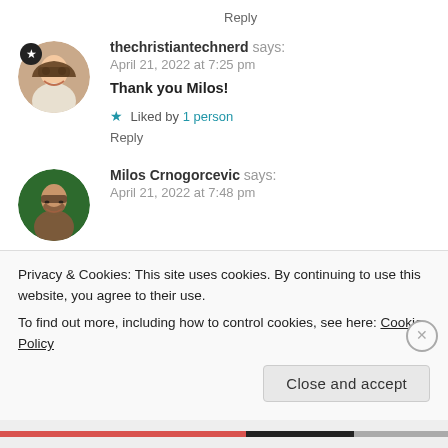Reply
thechristiantechnerd says:
April 21, 2022 at 7:25 pm
Thank you Milos!
★ Liked by 1 person
Reply
Milos Crnogorcevic says:
April 21, 2022 at 7:48 pm
Privacy & Cookies: This site uses cookies. By continuing to use this website, you agree to their use.
To find out more, including how to control cookies, see here: Cookie Policy